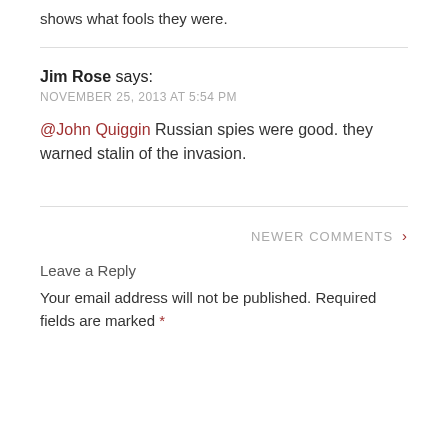shows what fools they were.
Jim Rose says: NOVEMBER 25, 2013 AT 5:54 PM
@John Quiggin Russian spies were good. they warned stalin of the invasion.
NEWER COMMENTS >
Leave a Reply
Your email address will not be published. Required fields are marked *